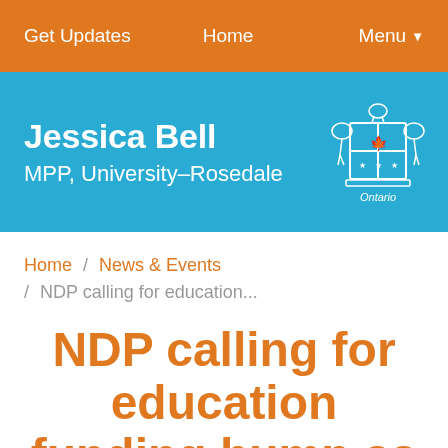Get Updates   Home   Menu
Jessica Bell
MPP, University–Rosedale
Home / News & Events / NDP calling for education...
NDP calling for education funding bump as